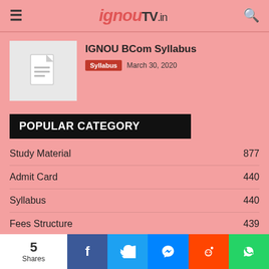ignouTV.in
IGNOU BCom Syllabus
Syllabus  March 30, 2020
POPULAR CATEGORY
Study Material  877
Admit Card  440
Syllabus  440
Fees Structure  439
Hall Ticket  439
Result  367
5 Shares  Facebook  Twitter  Messenger  Reddit  WhatsApp